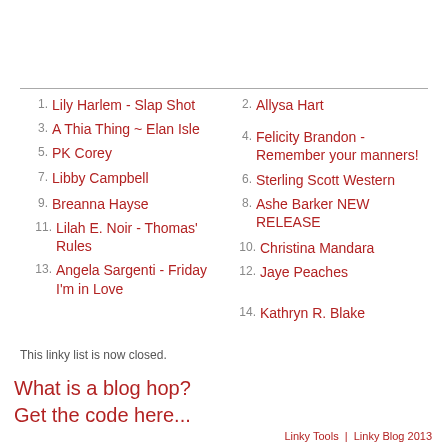1. Lily Harlem - Slap Shot
2. Allysa Hart
3. A Thia Thing ~ Elan Isle
4. Felicity Brandon - Remember your manners!
5. PK Corey
6. Sterling Scott Western
7. Libby Campbell
8. Ashe Barker NEW RELEASE
9. Breanna Hayse
10. Christina Mandara
11. Lilah E. Noir - Thomas' Rules
12. Jaye Peaches
13. Angela Sargenti - Friday I'm in Love
14. Kathryn R. Blake
This linky list is now closed.
What is a blog hop?
Get the code here...
Linky Tools  |  Linky Blog 2013